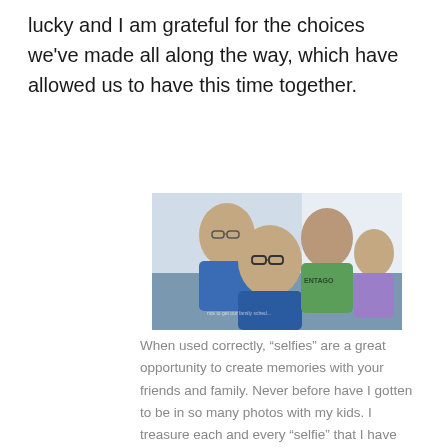lucky and I am grateful for the choices we've made all along the way, which have allowed us to have this time together.
[Figure (photo): A selfie of four females — a woman with glasses and three girls — smiling outdoors near water. One girl wears a blue jacket, another a green hoodie with 'ENTAGO' text, and the youngest a purple shirt.]
When used correctly, “selfies” are a great opportunity to create memories with your friends and family. Never before have I gotten to be in so many photos with my kids. I treasure each and every “selfie” that I have with them.